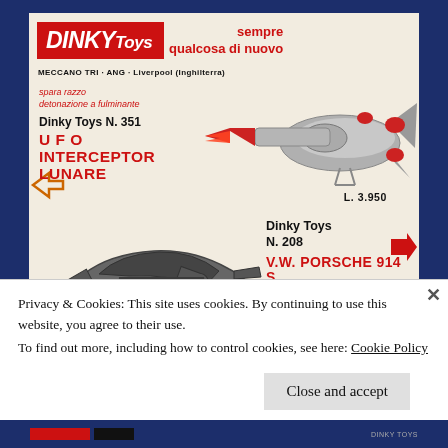[Figure (illustration): Vintage Dinky Toys Italian advertisement showing UFO Interceptor Lunare N.351 spacecraft toy and V.W. Porsche 914 S N.208 toy car, with Dinky Toys logo, product text, and prices in Italian language]
Privacy & Cookies: This site uses cookies. By continuing to use this website, you agree to their use.
To find out more, including how to control cookies, see here: Cookie Policy
Close and accept